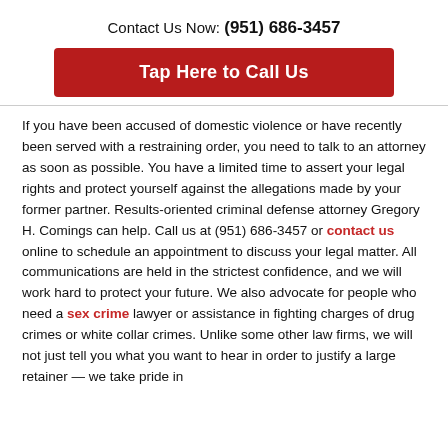Contact Us Now: (951) 686-3457
[Figure (other): Red button: Tap Here to Call Us]
If you have been accused of domestic violence or have recently been served with a restraining order, you need to talk to an attorney as soon as possible. You have a limited time to assert your legal rights and protect yourself against the allegations made by your former partner. Results-oriented criminal defense attorney Gregory H. Comings can help. Call us at (951) 686-3457 or contact us online to schedule an appointment to discuss your legal matter. All communications are held in the strictest confidence, and we will work hard to protect your future. We also advocate for people who need a sex crime lawyer or assistance in fighting charges of drug crimes or white collar crimes. Unlike some other law firms, we will not just tell you what you want to hear in order to justify a large retainer — we take pride in